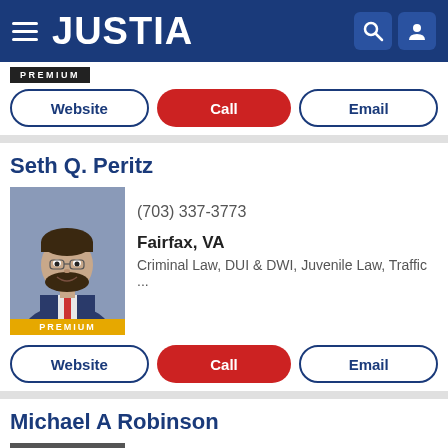JUSTIA
[Figure (screenshot): Premium badge label]
Website | Call | Email
Seth Q. Peritz
[Figure (photo): Professional headshot of Seth Q. Peritz, a man with dark beard wearing a suit and tie, PREMIUM badge at bottom]
(703) 337-3773
Fairfax, VA
Criminal Law, DUI & DWI, Juvenile Law, Traffic ...
Website | Call | Email
Michael A Robinson
[Figure (photo): Professional headshot of Michael A Robinson in black and white, man in dark suit]
(888) 259-9787
Fairfax, VA
Criminal Law, DUI & DWI, Juvenile Law, Traffic ...